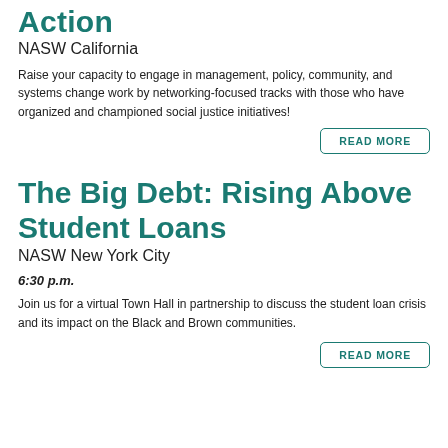Action
NASW California
Raise your capacity to engage in management, policy, community, and systems change work by networking-focused tracks with those who have organized and championed social justice initiatives!
READ MORE
The Big Debt: Rising Above Student Loans
NASW New York City
6:30 p.m.
Join us for a virtual Town Hall in partnership to discuss the student loan crisis and its impact on the Black and Brown communities.
READ MORE